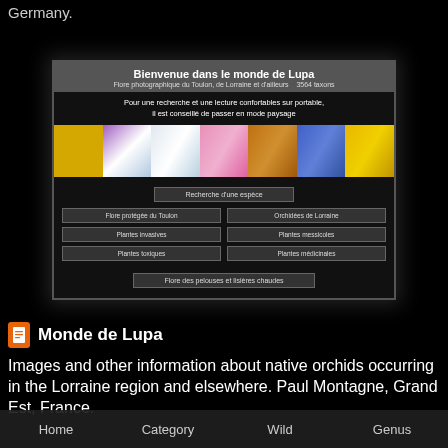Germany.
[Figure (screenshot): Screenshot of Monde de Lupa website showing welcome banner 'Bienvenue dans le monde de Lupa', flower photo strip, and navigation buttons including Recherche d'une espèce, Flore protégée du Toulon, Orchidées de Lorraine, Plantes invasives, Plantes messicoles, Plantes toxiques, Plantes médicinales, Flore des pelouses et lisières chaudes]
Monde de Lupa
Images and other information about native orchids occurring in the Lorraine region and elsewhere. Paul Montagne, Grand Est, France.
Home   Category   Wild   Genus